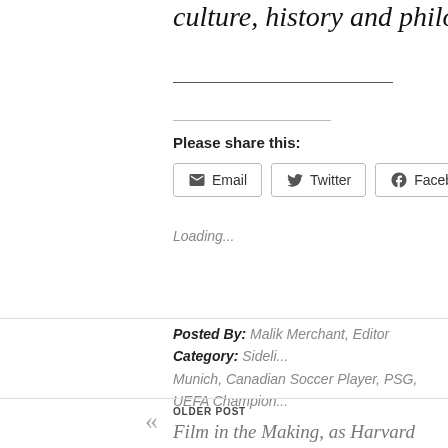culture, history and philosophy, and c
Please share this:
[Figure (screenshot): Share buttons for Email, Twitter, Facebook, LinkedIn]
Loading...
Posted By: Malik Merchant, Editor   Category: Sideli... Munich, Canadian Soccer Player, PSG, UEFA Champion...
OLDER POST
Film in the Making, as Harvard Professor Explores Two Ismaili